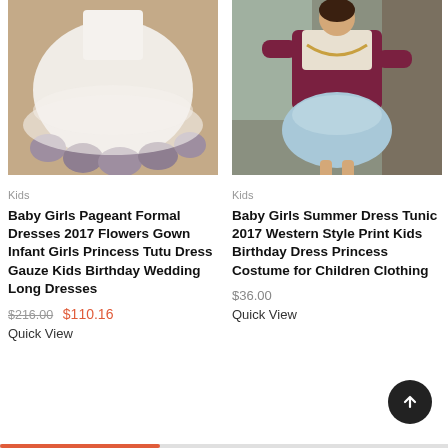[Figure (photo): White tulle princess dress with grey flower decorations at the hem, displayed on a mannequin]
[Figure (photo): Young girl wearing a light blue tulle dress with ruffled top and burgundy long-sleeve shirt underneath]
Kids
Kids
Baby Girls Pageant Formal Dresses 2017 Flowers Gown Infant Girls Princess Tutu Dress Gauze Kids Birthday Wedding Long Dresses
Baby Girls Summer Dress Tunic 2017 Western Style Print Kids Birthday Dress Princess Costume for Children Clothing
$216.00  $110.16
$36.00
Quick View
Quick View